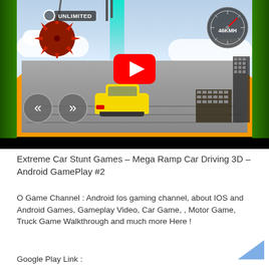[Figure (screenshot): YouTube video thumbnail showing a mobile game 'Extreme Car Stunt Games - Mega Ramp Car Driving 3D'. Scene shows a yellow sports car on a raised ramp track in the sky, with a wrecking ball on the left, green pillars on sides, teal light beam, speedometer top right showing 46KMH, UNLIMITED badge, navigation arrows, and a large red YouTube play button in the center.]
Extreme Car Stunt Games – Mega Ramp Car Driving 3D – Android GamePlay #2
O Game Channel : Android Ios gaming channel, about IOS and Android Games, Gameplay Video, Car Game, , Motor Game, Truck Game Walkthrough and much more Here !
Google Play Link :